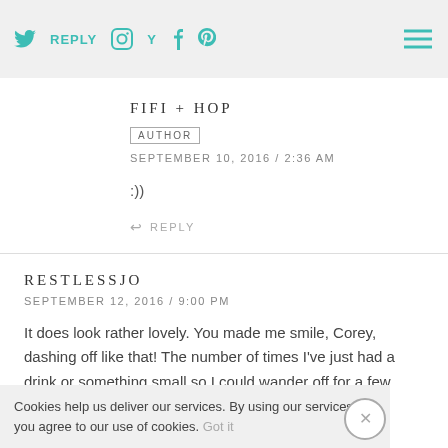REPLY [social icons] [hamburger menu]
FIFI + HOP
AUTHOR
SEPTEMBER 10, 2016 / 2:36 AM
:))
REPLY
RESTLESSJO
SEPTEMBER 12, 2016 / 9:00 PM
It does look rather lovely. You made me smile, Corey, dashing off like that! The number of times I've just had a drink or something small so I could wander off for a few pics. 🙂 🙂
REPLY
Cookies help us deliver our services. By using our services, you agree to our use of cookies. Got it